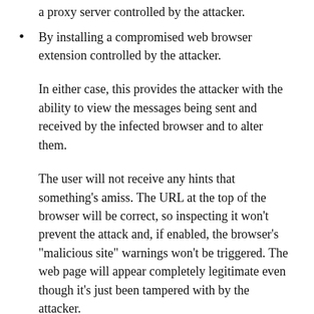a proxy server controlled by the attacker.
By installing a compromised web browser extension controlled by the attacker.
In either case, this provides the attacker with the ability to view the messages being sent and received by the infected browser and to alter them.
The user will not receive any hints that something’s amiss. The URL at the top of the browser will be correct, so inspecting it won’t prevent the attack and, if enabled, the browser’s “malicious site” warnings won’t be triggered. The web page will appear completely legitimate even though it’s just been tampered with by the attacker.